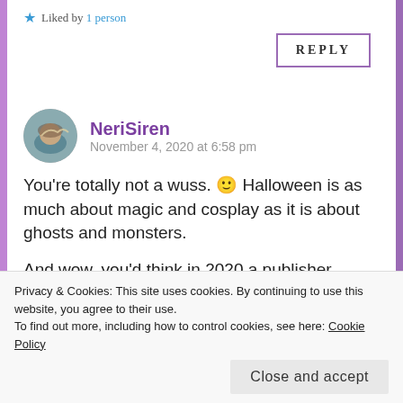Liked by 1 person
REPLY
NeriSiren
November 4, 2020 at 6:58 pm
You're totally not a wuss. 🙂 Halloween is as much about magic and cosplay as it is about ghosts and monsters.
And wow, you'd think in 2020 a publisher would at LEAST put a disclaimer before the story (or better
Privacy & Cookies: This site uses cookies. By continuing to use this website, you agree to their use.
To find out more, including how to control cookies, see here: Cookie Policy
Close and accept